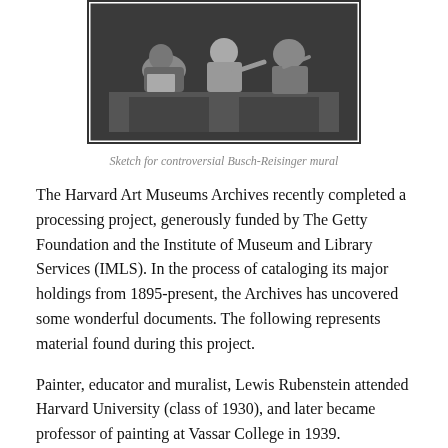[Figure (photo): Black and white sketch/photo showing figures in a mural scene, appearing to be a relief or sketch for the Busch-Reisinger mural]
Sketch for controversial Busch-Reisinger mural
The Harvard Art Museums Archives recently completed a processing project, generously funded by The Getty Foundation and the Institute of Museum and Library Services (IMLS).  In the process of cataloging its major holdings from 1895-present, the Archives has uncovered some wonderful documents. The following represents material found during this project.
Painter, educator and muralist, Lewis Rubenstein attended Harvard University (class of 1930), and later became professor of painting at Vassar College in 1939.